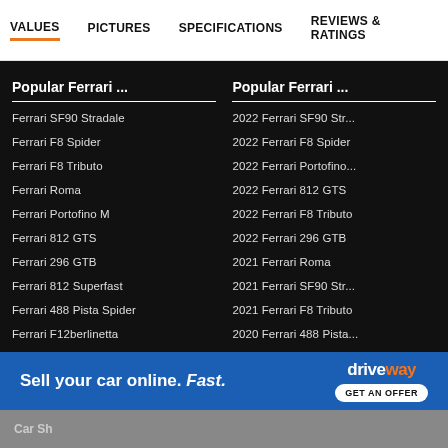VALUES  PICTURES  SPECIFICATIONS  REVIEWS & RATINGS
Popular Ferrari ...
Ferrari SF90 Stradale
Ferrari F8 Spider
Ferrari F8 Tributo
Ferrari Roma
Ferrari Portofino M
Ferrari 812 GTS
Ferrari 296 GTB
Ferrari 812 Superfast
Ferrari 488 Pista Spider
Ferrari F12berlinetta
Popular Ferrari ...
2022 Ferrari SF90 Str...
2022 Ferrari F8 Spider
2022 Ferrari Portofino...
2022 Ferrari 812 GTS
2022 Ferrari F8 Tributo
2022 Ferrari 296 GTB
2021 Ferrari Roma
2021 Ferrari SF90 Str...
2021 Ferrari F8 Tributo
2020 Ferrari 488 Pista...
Sell your car online. Fast.
Car Sh